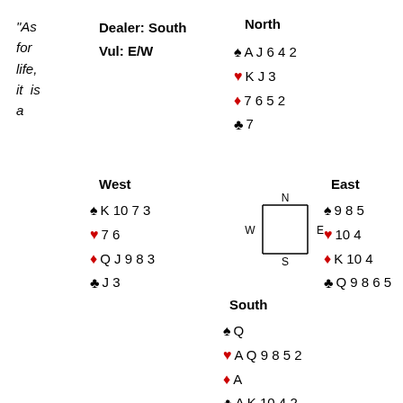"As for life, it is a
Dealer: South  Vul: E/W
North: ♠ A J 6 4 2  ♥ K J 3  ♦ 7 6 5 2  ♣ 7
West: ♠ K 10 7 3  ♥ 7 6  ♦ Q J 9 8 3  ♣ J 3
[Figure (other): Compass diagram with N, S, E, W directions in a box]
East: ♠ 9 8 5  ♥ 10 4  ♦ K 10 4  ♣ Q 9 8 6 5
South: ♠ Q  ♥ A Q 9 8 5 2  ♦ A  ♣ A K 10 4 2